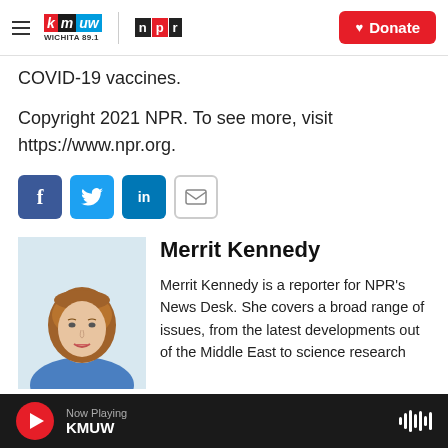KMUW Wichita 89.1 | NPR — Donate
COVID-19 vaccines.
Copyright 2021 NPR. To see more, visit https://www.npr.org.
[Figure (infographic): Social sharing buttons: Facebook (f), Twitter (bird), LinkedIn (in), Email (envelope)]
[Figure (photo): Headshot of Merrit Kennedy, a woman with long auburn hair wearing a blue shirt]
Merrit Kennedy
Merrit Kennedy is a reporter for NPR's News Desk. She covers a broad range of issues, from the latest developments out of the Middle East to science research
Now Playing KMUW